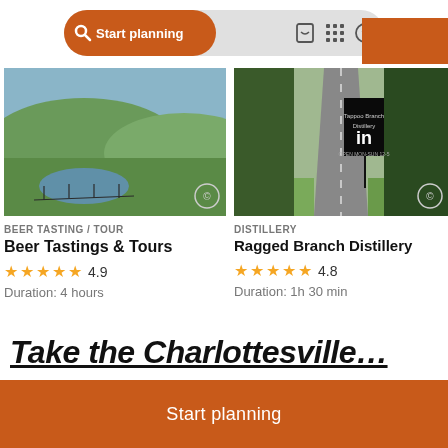[Figure (screenshot): Search bar with orange 'Start planning' button, bookmark icon, grid icon, and help icon on light grey pill-shaped background]
[Figure (photo): Scenic countryside landscape with a pond, green fields and rolling hills in background]
BEER TASTING / TOUR
Beer Tastings & Tours
4.9
Duration: 4 hours
[Figure (photo): Road through trees with black signpost showing distillery information and 'in' text]
DISTILLERY
Ragged Branch Distillery
4.8
Duration: 1h 30 min
Start planning